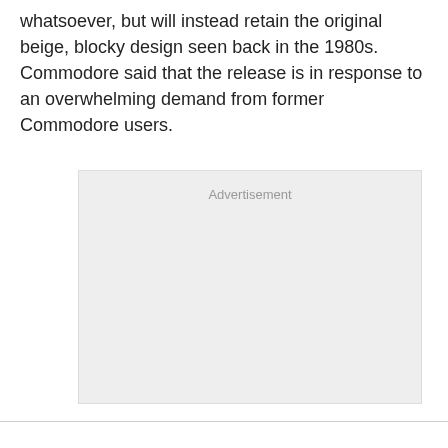whatsoever, but will instead retain the original beige, blocky design seen back in the 1980s. Commodore said that the release is in response to an overwhelming demand from former Commodore users.
[Figure (other): Advertisement placeholder box with light gray background and 'Advertisement' label at top center.]